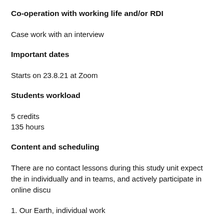Co-operation with working life and/or RDI
Case work with an interview
Important dates
Starts on 23.8.21 at Zoom
Students workload
5 credits
135 hours
Content and scheduling
There are no contact lessons during this study unit expect the in individually and in teams, and actively participate in online discu
1. Our Earth, individual work
What is biodiversity? How is it influenced by my footprint? What
All our actions have an effect on the environment but what are th